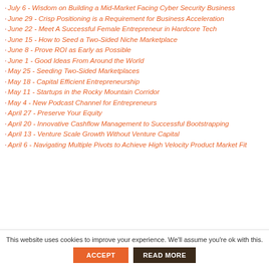July 6 - Wisdom on Building a Mid-Market Facing Cyber Security Business
June 29 - Crisp Positioning is a Requirement for Business Acceleration
June 22 - Meet A Successful Female Entrepreneur in Hardcore Tech
June 15 - How to Seed a Two-Sided Niche Marketplace
June 8 - Prove ROI as Early as Possible
June 1 - Good Ideas From Around the World
May 25 - Seeding Two-Sided Marketplaces
May 18 - Capital Efficient Entrepreneurship
May 11 - Startups in the Rocky Mountain Corridor
May 4 - New Podcast Channel for Entrepreneurs
April 27 - Preserve Your Equity
April 20 - Innovative Cashflow Management to Successful Bootstrapping
April 13 - Venture Scale Growth Without Venture Capital
April 6 - Navigating Multiple Pivots to Achieve High Velocity Product Market Fit
This website uses cookies to improve your experience. We'll assume you're ok with this.